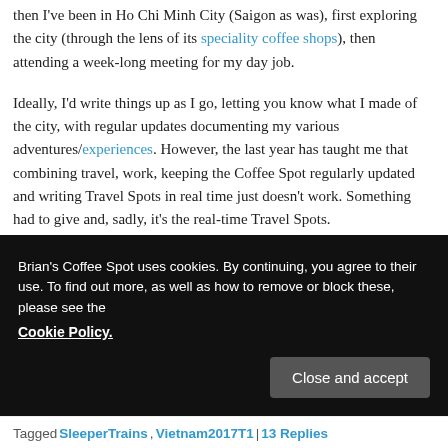then I've been in Ho Chi Minh City (Saigon as was), first exploring the city (through the lens of its speciality coffee shops), then attending a week-long meeting for my day job.
Ideally, I'd write things up as I go, letting you know what I made of the city, with regular updates documenting my various adventures/experiences. However, the last year has taught me that combining travel, work, keeping the Coffee Spot regularly updated and writing Travel Spots in real time just doesn't work. Something had to give and, sadly, it's the real-time Travel Spots.
Instead, I've put together a Travel Spot Page to deal with
Brian's Coffee Spot uses cookies. By continuing, you agree to their use. To find out more, as well as how to remove or block these, please see the Cookie Policy.
Close and accept
Tagged SleeperTrains, Vietnam2017T1 | 13 Replies